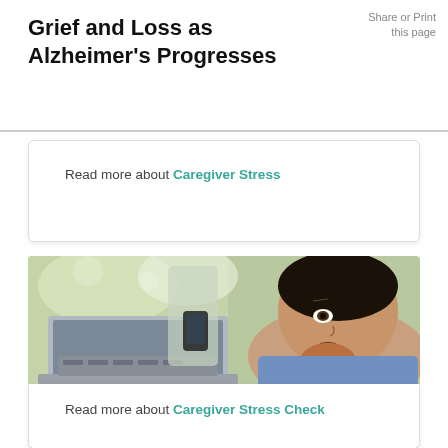Grief and Loss as Alzheimer's Progresses
Share or Print this page
Read more about Caregiver Stress
[Figure (photo): A woman with a concerned expression resting her chin on her fist while looking at a laptop. Another person stands behind her holding a phone, out of focus.]
Read more about Caregiver Stress Check